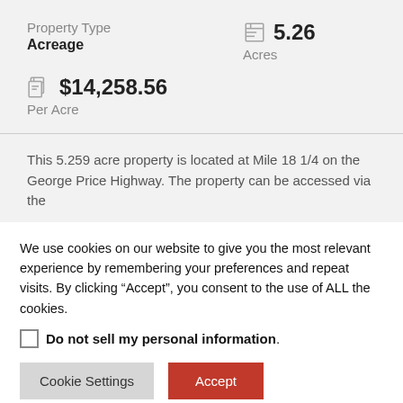Property Type
Acreage
5.26
Acres
$14,258.56
Per Acre
This 5.259 acre property is located at Mile 18 1/4 on the George Price Highway. The property can be accessed via the
We use cookies on our website to give you the most relevant experience by remembering your preferences and repeat visits. By clicking "Accept", you consent to the use of ALL the cookies.
Do not sell my personal information.
Cookie Settings
Accept